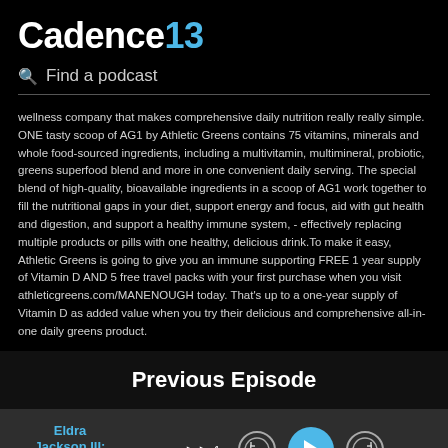Cadence13
Find a podcast
wellness company that makes comprehensive daily nutrition really really simple. ONE tasty scoop of AG1 by Athletic Greens contains 75 vitamins, minerals and whole food-sourced ingredients, including a multivitamin, multimineral, probiotic, greens superfood blend and more in one convenient daily serving. The special blend of high-quality, bioavailable ingredients in a scoop of AG1 work together to fill the nutritional gaps in your diet, support energy and focus, aid with gut health and digestion, and support a healthy immune system, - effectively replacing multiple products or pills with one healthy, delicious drink.To make it easy, Athletic Greens is going to give you an immune supporting FREE 1 year supply of Vitamin D AND 5 free travel packs with your first purchase when you visit athleticgreens.com/MANENOUGH today. That's up to a one-year supply of Vitamin D as added value when you try their delicious and comprehensive all-in-one daily greens product.
Previous Episode
[Figure (screenshot): Audio player interface showing episode title 'Eldra Jackson III: Human Work, Not' in blue text, playback speed controls (1x), skip buttons (15 seconds back and forward), a blue play button, time display showing 00:00, and a progress bar with blue dot at the beginning.]